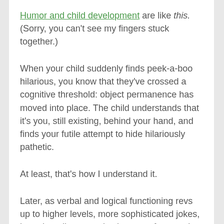Humor and child development are like this. (Sorry, you can't see my fingers stuck together.)
When your child suddenly finds peek-a-boo hilarious, you know that they've crossed a cognitive threshold: object permanence has moved into place. The child understands that it's you, still existing, behind your hand, and finds your futile attempt to hide hilariously pathetic.
At least, that's how I understand it.
Later, as verbal and logical functioning revs up to higher levels, more sophisticated jokes, based on discrepancies between facts and perceptions, come into play.
I knew a 10-year-old who found this joke so brilliant she repeated it with maddening regularity: “Two muffins were sitting in an oven. One said, ‘Is it